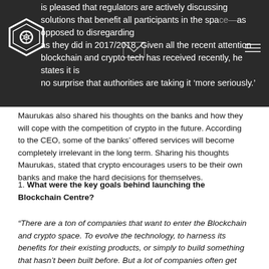is pleased that regulators are actively discussing solutions that benefit all participants in the space—as opposed to disregarding as they did in 2017/2018. Given all the recent attention blockchain and crypto tech has received recently, he states it is no surprise that authorities are taking it 'more seriously.'
Maurukas also shared his thoughts on the banks and how they will cope with the competition of crypto in the future. According to the CEO, some of the banks' offered services will become completely irrelevant in the long term. Sharing his thoughts Maurukas, stated that crypto encourages users to be their own banks and make the hard decisions for themselves.
1. What were the key goals behind launching the Blockchain Centre?
“There are a ton of companies that want to enter the Blockchain and crypto space. To evolve the technology, to harness its benefits for their existing products, or simply to build something that hasn’t been built before. But a lot of companies often get discouraged upon discovering just how much they don’t know